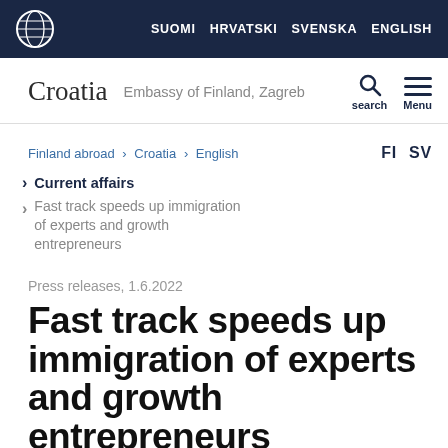SUOMI  HRVATSKI  SVENSKA  ENGLISH
Croatia  Embassy of Finland, Zagreb
Finland abroad > Croatia > English    FI  SV
Current affairs
Fast track speeds up immigration of experts and growth entrepreneurs
Press releases, 1.6.2022
Fast track speeds up immigration of experts and growth entrepreneurs